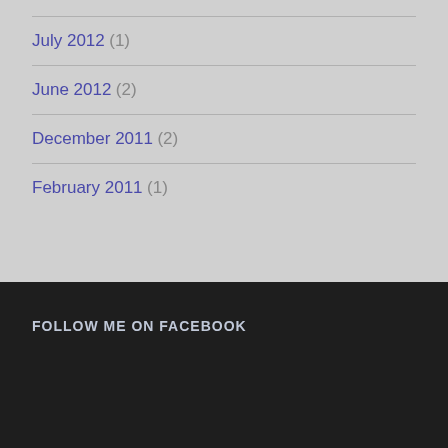July 2012 (1)
June 2012 (2)
December 2011 (2)
February 2011 (1)
FOLLOW ME ON FACEBOOK